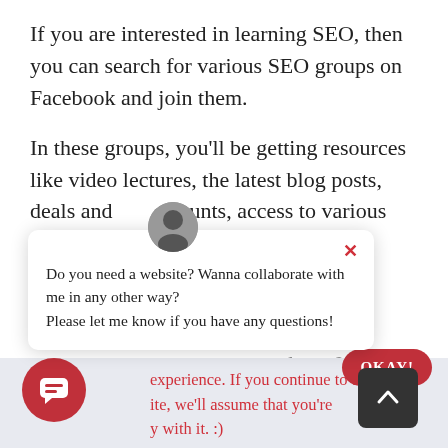If you are interested in learning SEO, then you can search for various SEO groups on Facebook and join them.
In these groups, you'll be getting resources like video lectures, the latest blog posts, deals and discounts, access to various SEO forums
[Figure (screenshot): Chat popup overlay with avatar, close button (×), and message: 'Do you need a website? Wanna collaborate with me in any other way? Please let me know if you have any questions!']
experience. If you continue to use ite, we'll assume that you're y with it. :)
[Figure (screenshot): OKAY! button (red pill-shaped) and scroll-to-top button (dark square with caret) and red chat circle button in bottom-left corner]